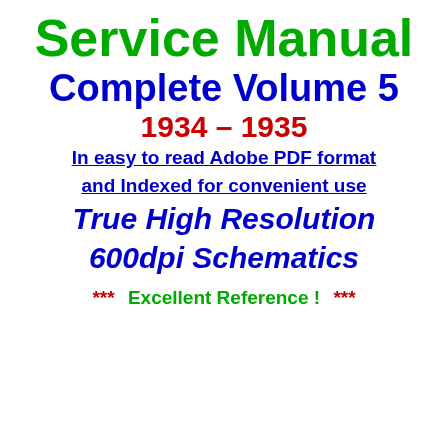Service Manual
Complete Volume 5
1934 - 1935
In easy to read Adobe PDF format and Indexed for convenient use
True High Resolution 600dpi Schematics
*** Excellent Reference ! ***